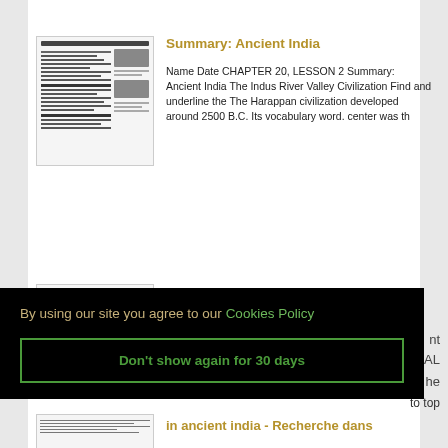[Figure (screenshot): Thumbnail of 'Summary: Ancient India' document]
Summary: Ancient India
Name Date CHAPTER 20, LESSON 2 Summary: Ancient India The Indus River Valley Civilization Find and underline the The Harappan civilization developed around 2500 B.C. Its vocabulary word. center was th
[Figure (screenshot): Thumbnail of 'The Culture and Civilisation of Ancient India in - Vidya Online' document]
The Culture and Civilisation of Ancient India in - Vidya Online
nt
AL
he
By using our site you agree to our Cookies Policy
Don't show again for 30 days
to top
[Figure (screenshot): Thumbnail of third search result]
in ancient india - Recherche dans